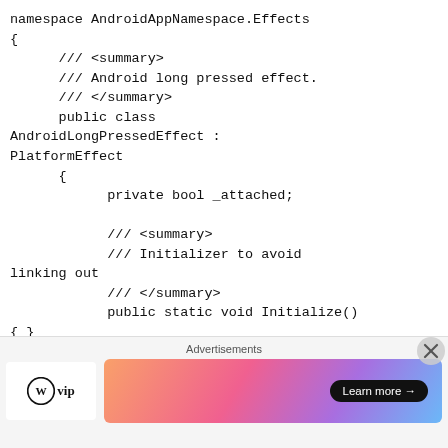namespace AndroidAppNamespace.Effects
{
        /// <summary>
        /// Android long pressed effect.
        /// </summary>
        public class
AndroidLongPressedEffect :
PlatformEffect
        {
              private bool _attached;

              /// <summary>
              /// Initializer to avoid linking out
              /// </summary>
              public static void Initialize()
{ }

              /// <summary>
              /// Initializes a new instance
of th...
Advertisements
[Figure (infographic): Advertisement banner with WordPress VIP logo on the left and a gradient banner on the right with a 'Learn more →' button]